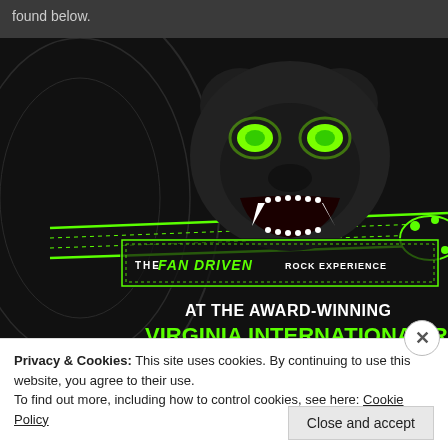found below.
[Figure (illustration): Dark promotional banner featuring a roaring bear with glowing green eyes holding a guitar neck in its mouth. Text reads 'THE FAN DRIVEN ROCK EXPERIENCE' in green stylized font, and 'AT THE AWARD-WINNING VIRGINIA INTERNATIONAL RA...' in white and green bold text.]
Privacy & Cookies: This site uses cookies. By continuing to use this website, you agree to their use.
To find out more, including how to control cookies, see here: Cookie Policy
Close and accept